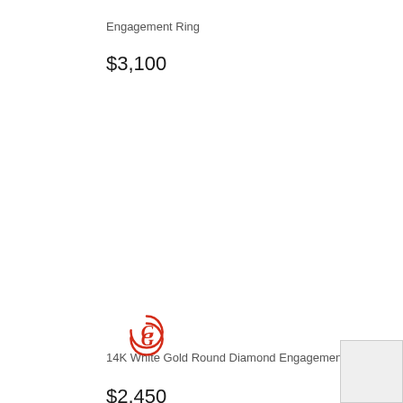Engagement Ring
$3,100
[Figure (logo): Red circular jeweler logo mark with stylized G]
14K White Gold Round Diamond Engagement Ring
$2,450
[Figure (logo): Red circular jeweler logo mark with stylized G]